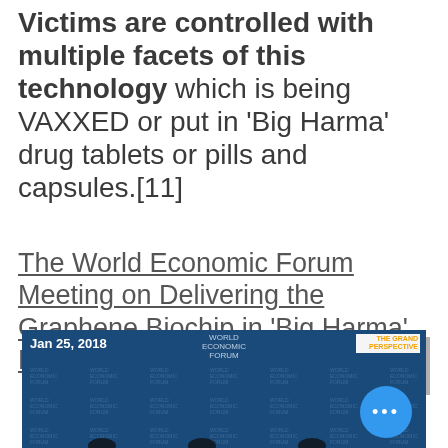Victims are controlled with multiple facets of this technology which is being VAXXED or put in 'Big Harma' drug tablets or pills and capsules.[11]
The World Economic Forum Meeting on Delivering the Graphene Biochip in 'Big Harma' Pills
[Figure (screenshot): Video thumbnail showing World Economic Forum meeting, dated Jan 25, 2018, with WEF logo branding repeated in background pattern, and a blue circular button with three dots (ellipsis) overlay.]